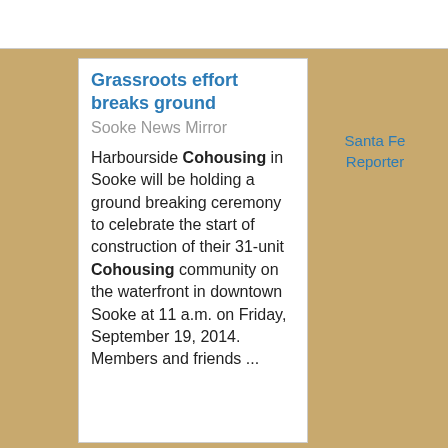Grassroots effort breaks ground
Sooke News Mirror
Harbourside Cohousing in Sooke will be holding a ground breaking ceremony to celebrate the start of construction of their 31-unit Cohousing community on the waterfront in downtown Sooke at 11 a.m. on Friday, September 19, 2014. Members and friends ...
Santa Fe Reporter
Reality Bites
Santa Fe Reporter
The nearly 1 year-old development Santa Fe's fi cohousing community— experiment i practical application o generic valu diversity and community li But what sounded gre theory has tu out, in practi to be a mixe bag.